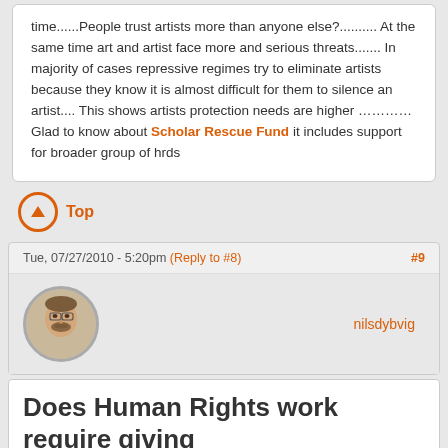time......People trust artists more than anyone else?.......... At the same time art and artist face more and serious threats....... In majority of cases repressive regimes try to eliminate artists because they know it is almost difficult for them to silence an artist.... This shows artists protection needs are higher …………  Glad to know about Scholar Rescue Fund it includes support for broader group of hrds
Top
Tue, 07/27/2010 - 5:20pm (Reply to #8) #9
nilsdybvig
Does Human Rights work require giving